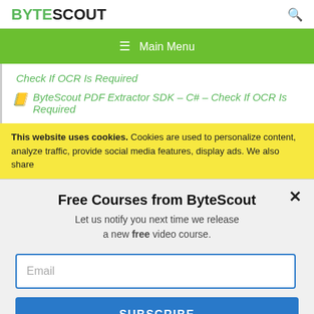BYTESCOUT
≡ Main Menu
Check If OCR Is Required
ByteScout PDF Extractor SDK – C# – Check If OCR Is Required
This website uses cookies. Cookies are used to personalize content, analyze traffic, provide social media features, display ads. We also share
Free Courses from ByteScout
Let us notify you next time we release a new free video course.
Email
SUBSCRIBE